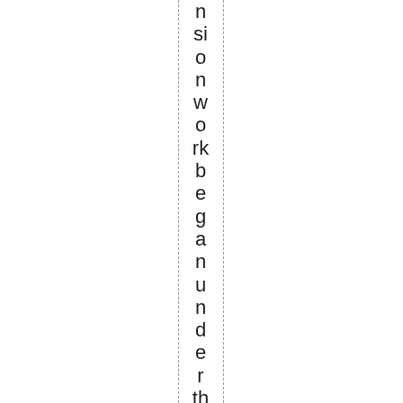nsion work began under the leadership